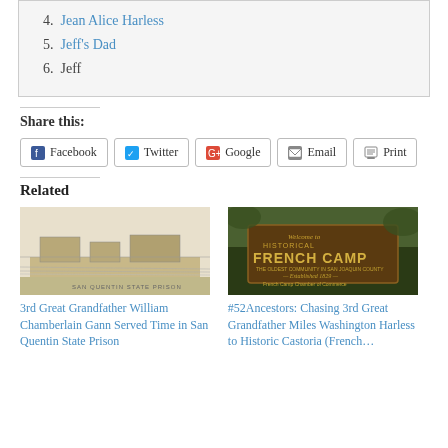4. Jean Alice Harless
5. Jeff's Dad
6. Jeff
Share this:
Facebook  Twitter  Google  Email  Print
Related
[Figure (photo): Black and white sketch/illustration of San Quentin State Prison]
3rd Great Grandfather William Chamberlain Gann Served Time in San Quentin State Prison
[Figure (photo): Photo of a sign reading Welcome to Historical French Camp, The Oldest Community in San Joaquin County, Established 1829, French Camp Chamber of Commerce]
#52Ancestors: Chasing 3rd Great Grandfather Miles Washington Harless to Historic Castoria (French…